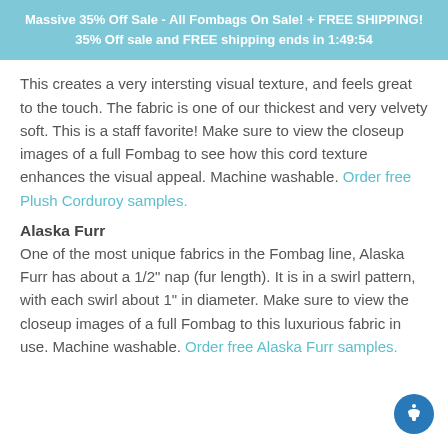Massive 35% Off Sale - All Fombags On Sale! + FREE SHIPPING!
35% Off sale and FREE shipping ends in 1:49:54
This creates a very intersting visual texture, and feels great to the touch. The fabric is one of our thickest and very velvety soft. This is a staff favorite! Make sure to view the closeup images of a full Fombag to see how this cord texture enhances the visual appeal. Machine washable. Order free Plush Corduroy samples.
Alaska Furr
One of the most unique fabrics in the Fombag line, Alaska Furr has about a 1/2" nap (fur length). It is in a swirl pattern, with each swirl about 1" in diameter. Make sure to view the closeup images of a full Fombag to this luxurious fabric in use. Machine washable. Order free Alaska Furr samples.